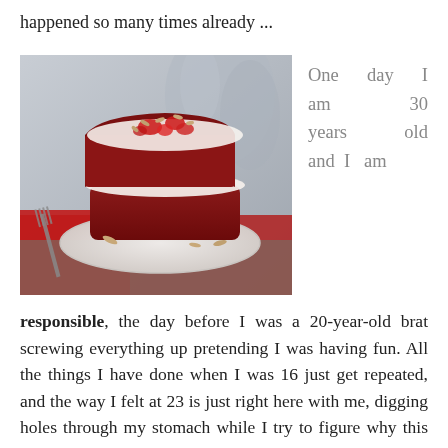happened so many times already ...
[Figure (photo): A slice of red velvet cake topped with cream and cherries on a white plate with a fork, placed on a red napkin]
One day I am 30 years old and I am
responsible, the day before I was a 20-year-old brat screwing everything up pretending I was having fun. All the things I have done when I was 16 just get repeated, and the way I felt at 23 is just right here with me, digging holes through my stomach while I try to figure why this and this did not work out, or what I